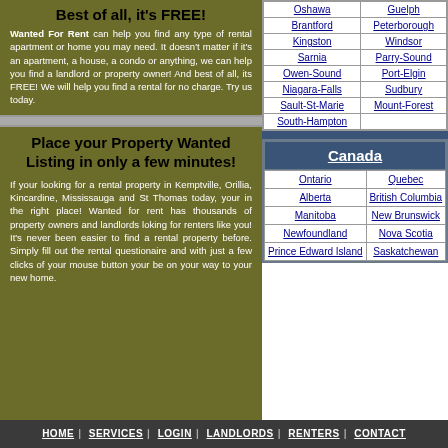Best of all, it's FREE!
Wanted For Rent can help you find any type of rental apartment or home you may need. It doesn't matter if it's an apartment, a house, a condo or anything, we can help you find a landlord or property owner! And best of all, its FREE! We will help you find a rental for no charge. Try us today.
| Oshawa | Guelph |
| Brantford | Peterborough |
| Kingston | Windsor |
| Sarnia | Parry-Sound |
| Owen-Sound | Port-Elgin |
| Niagara-Falls | Sudbury |
| Sault-St-Marie | Mount-Forest |
| South-Hampton |  |
Place your Property Wanted Listing in only a few minutes!
If your looking for a rental property in Kemptville, Orillia, Kincardine, Mississauga and St Thomas today, your in the right place! Wanted for rent has thousands of property owners and landlords loking for renters like you! It's never been easier to find a rental property before. Simply fill out the rental questionaire and with just a few clicks of your mouse button your be on your way to your new home.
Canada
| Ontario | Quebec |
| Alberta | British Columbia |
| Manitoba | New Brunswick |
| Newfoundland | Nova Scotia |
| Prince Edward Island | Saskatchewan |
HOME | SERVICES | LOGIN | LANDLORDS | RENTERS | CONTACT